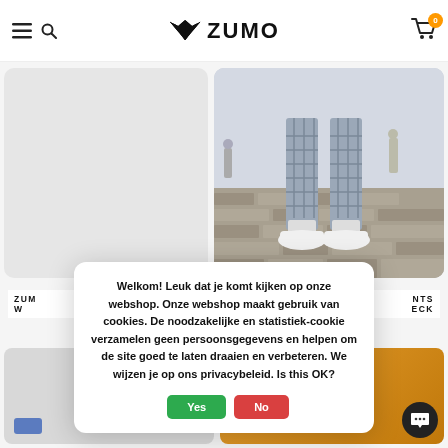ZUMO — navigation header with hamburger, search, logo, and cart (0 items)
[Figure (photo): Left product card: light gray placeholder rectangle]
[Figure (photo): Right product card: photo of person's legs wearing gray checked pants and white sneakers on a cobblestone street]
ZUM... W... (product title left, partially obscured)
...NTS ...ECK (product title right, partially obscured)
Welkom! Leuk dat je komt kijken op onze webshop. Onze webshop maakt gebruik van cookies. De noodzakelijke en statistiek-cookie verzamelen geen persoonsgegevens en helpen om de site goed te laten draaien en verbeteren. We wijzen je op ons privacybeleid. Is this OK?
[Figure (other): Cookie consent dialog with Yes (green) and No (red) buttons]
[Figure (photo): Second row left: partial gray product card with blue color swatch]
[Figure (photo): Second row right: partial orange/yellow product card with chat bubble icon]